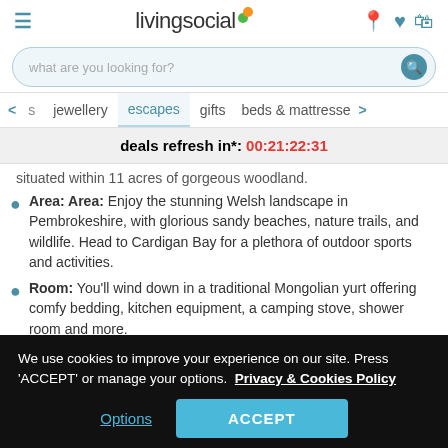livingsocial
what are you looking for?
jewellery  escapes  gifts  beds & mattresses
deals refresh in*: 00:21:22:31
situated within 11 acres of gorgeous woodland.
Area: Area: Enjoy the stunning Welsh landscape in Pembrokeshire, with glorious sandy beaches, nature trails, and wildlife. Head to Cardigan Bay for a plethora of outdoor sports and activities.
Room: You'll wind down in a traditional Mongolian yurt offering comfy bedding, kitchen equipment, a camping stove, shower room and more.
When: Valid for stays on selected dates until 31st Dec 2022
We use cookies to improve your experience on our site. Press 'ACCEPT' or manage your options. Privacy & Cookies Policy
Options  ACCEPT